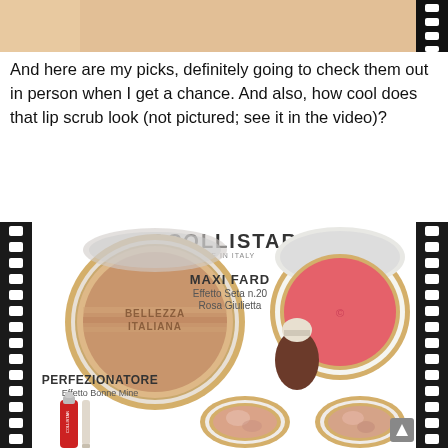[Figure (photo): Top partial image showing a person's face/neck, with film strip border on right side]
And here are my picks, definitely going to check them out in person when I get a chance. And also, how cool does that lip scrub look (not pictured; see it in the video)?
[Figure (photo): Collistar makeup brand advertisement showing various makeup products including bronzer compact labeled 'Bellezza Italiana' and 'Perfezionatore Effetto Bonne Mine', a pink blush compact labeled 'Maxi Fard Effetto Seta n.20 Rosa Giulietta', nail polish, and two smaller baked blush compacts. Film strip borders on left and right sides.]